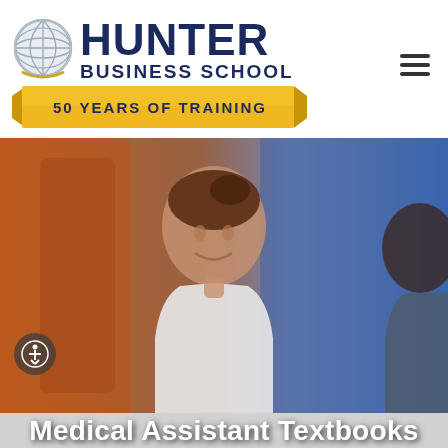[Figure (logo): Hunter Business School logo with globe icon, navy blue wordmark 'HUNTER BUSINESS SCHOOL' and gold ribbon banner reading '50 YEARS OF TRAINING']
[Figure (photo): Young woman in white medical coat smiling, set against a warm orange-to-blue gradient background, partially showing another person on the right]
Medical Assistant Textbooks